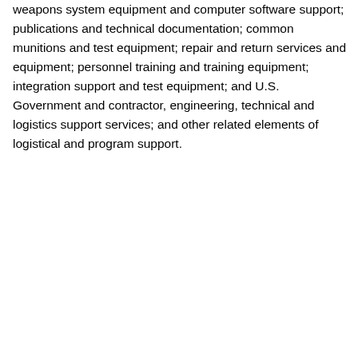weapons system equipment and computer software support; publications and technical documentation; common munitions and test equipment; repair and return services and equipment; personnel training and training equipment; integration support and test equipment; and U.S. Government and contractor, engineering, technical and logistics support services; and other related elements of logistical and program support.